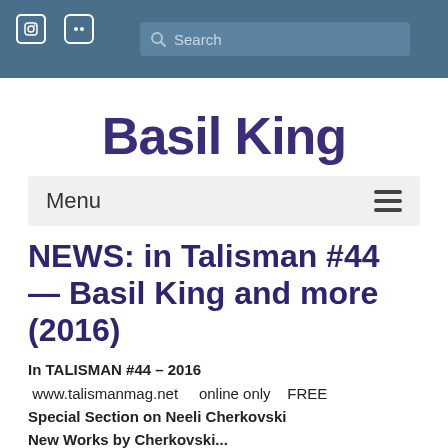Search
Basil King
Menu
NEWS: in Talisman #44 — Basil King and more (2016)
In TALISMAN #44 – 2016
 www.talismanmag.net    online only    FREE
Special Section on Neeli Cherkovski
New Works by Cherkovski...